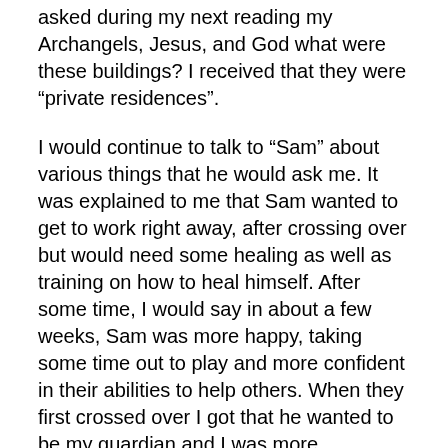asked during my next reading my Archangels, Jesus, and God what were these buildings? I received that they were “private residences”.
I would continue to talk to “Sam” about various things that he would ask me. It was explained to me that Sam wanted to get to work right away, after crossing over but would need some healing as well as training on how to heal himself. After some time, I would say in about a few weeks, Sam was more happy, taking some time out to play and more confident in their abilities to help others. When they first crossed over I got that he wanted to be my guardian and I was more concerned with him taking care of himself and being happy after all these years of being in this “middle land”, being earthbound. In another reading, I found he also wanted to help out the country that he passed in.